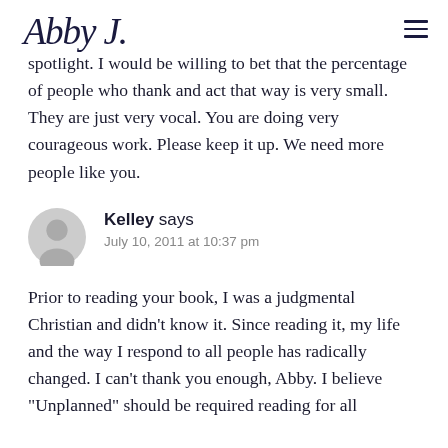Abby J. [logo/signature]
spotlight. I would be willing to bet that the percentage of people who thank and act that way is very small. They are just very vocal. You are doing very courageous work. Please keep it up. We need more people like you.
Kelley says
July 10, 2011 at 10:37 pm
Prior to reading your book, I was a judgmental Christian and didn't know it. Since reading it, my life and the way I respond to all people has radically changed. I can't thank you enough, Abby. I believe "Unplanned" should be required reading for all